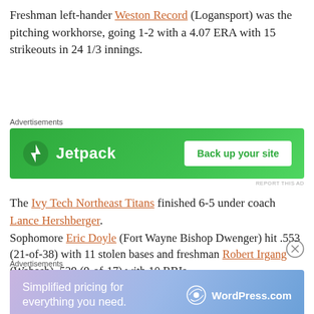Freshman left-hander Weston Record (Logansport) was the pitching workhorse, going 1-2 with a 4.07 ERA with 15 strikeouts in 24 1/3 innings.
[Figure (other): Jetpack advertisement banner: green background with Jetpack logo and 'Back up your site' button]
The Ivy Tech Northeast Titans finished 6-5 under coach Lance Hershberger.
Sophomore Eric Doyle (Fort Wayne Bishop Dwenger) hit .553 (21-of-38) with 11 stolen bases and freshman Robert Irgang (Wabash) .529 (9-of-17) with 10 RBIs.
[Figure (other): WordPress.com advertisement banner: gradient purple-blue background with 'Simplified pricing for everything you need.' text and WordPress.com logo]